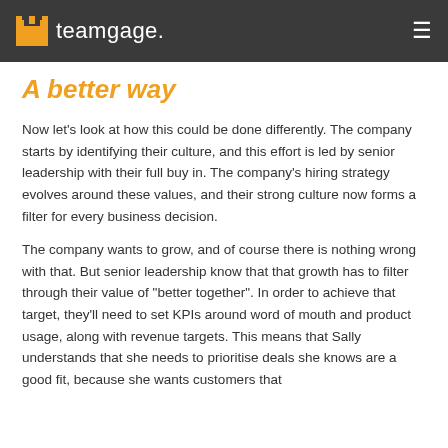teamgage
A better way
Now let’s look at how this could be done differently. The company starts by identifying their culture, and this effort is led by senior leadership with their full buy in. The company’s hiring strategy evolves around these values, and their strong culture now forms a filter for every business decision.
The company wants to grow, and of course there is nothing wrong with that. But senior leadership know that that growth has to filter through their value of “better together”. In order to achieve that target, they’ll need to set KPIs around word of mouth and product usage, along with revenue targets. This means that Sally understands that she needs to prioritise deals she knows are a good fit, because she wants customers that